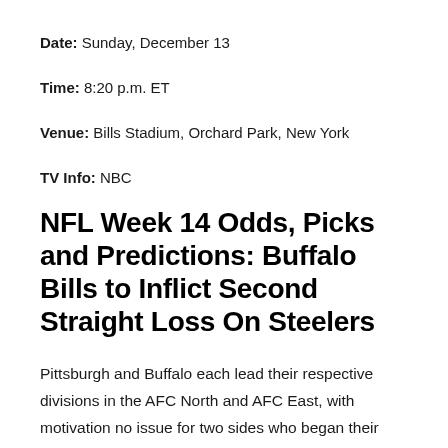Date: Sunday, December 13
Time: 8:20 p.m. ET
Venue: Bills Stadium, Orchard Park, New York
TV Info: NBC
NFL Week 14 Odds, Picks and Predictions: Buffalo Bills to Inflict Second Straight Loss On Steelers
Pittsburgh and Buffalo each lead their respective divisions in the AFC North and AFC East, with motivation no issue for two sides who began their respective seasons with great expectations